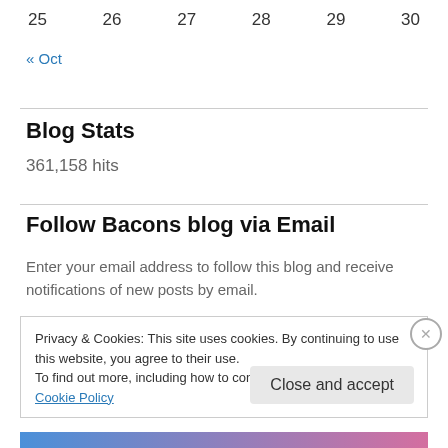25  26  27  28  29  30
« Oct
Blog Stats
361,158 hits
Follow Bacons blog via Email
Enter your email address to follow this blog and receive notifications of new posts by email.
Privacy & Cookies: This site uses cookies. By continuing to use this website, you agree to their use.
To find out more, including how to control cookies, see here: Cookie Policy
Close and accept